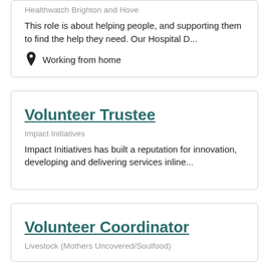Healthwatch Brighton and Hove
This role is about helping people, and supporting them to find the help they need. Our Hospital D...
Working from home
Volunteer Trustee
Impact Initiatives
Impact Initiatives has built a reputation for innovation, developing and delivering services inline...
Volunteer Coordinator
Livestock (Mothers Uncovered/Soulfood)